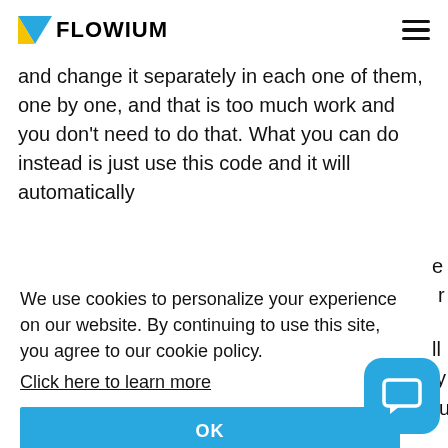FLOWIUM
and change it separately in each one of them, one by one, and that is too much work and you don't need to do that. What you can do instead is just use this code and it will automatically
We use cookies to personalize your experience on our website. By continuing to use this site, you agree to our cookie policy. Click here to learn more
OK
will say Wednesday, April and 21. The use of this